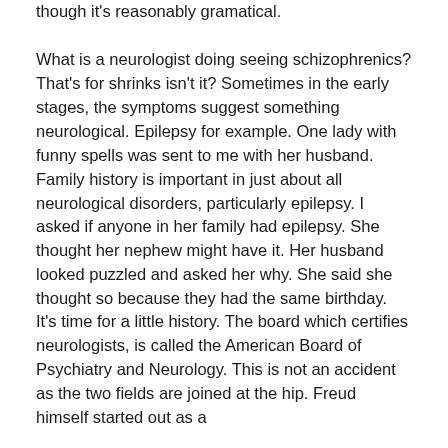though it's reasonably gramatical.
What is a neurologist doing seeing schizophrenics? That's for shrinks isn't it? Sometimes in the early stages, the symptoms suggest something neurological. Epilepsy for example. One lady with funny spells was sent to me with her husband. Family history is important in just about all neurological disorders, particularly epilepsy. I asked if anyone in her family had epilepsy. She thought her nephew might have it. Her husband looked puzzled and asked her why. She said she thought so because they had the same birthday.
It's time for a little history. The board which certifies neurologists, is called the American Board of Psychiatry and Neurology. This is not an accident as the two fields are joined at the hip. Freud himself started out as a